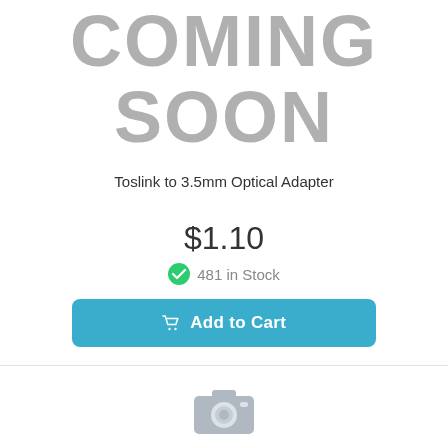[Figure (illustration): Large bold gray text reading COMING SOON in two lines]
Toslink to 3.5mm Optical Adapter
$1.10
481 in Stock
Add to Cart
[Figure (illustration): Gray camera icon partially visible at bottom of page]